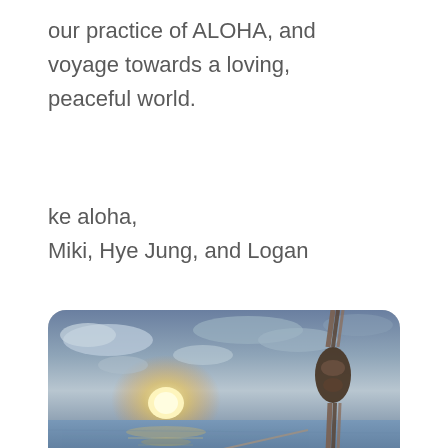our practice of ALOHA, and voyage towards a loving, peaceful world.
ke aloha,
Miki, Hye Jung, and Logan
[Figure (photo): A sunset over the ocean viewed from the deck of a sailing vessel, with a rope and rigging block in the foreground on the right side. The sky has scattered clouds lit golden by the setting sun, and the ocean is calm and blue-grey.]